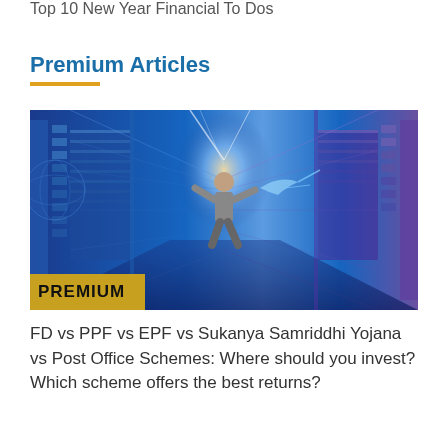Top 10 New Year Financial To Dos
Premium Articles
[Figure (photo): A man in a suit standing in a futuristic digital corridor with glowing blue data panels on either side, reaching toward a holographic display. The image has a PREMIUM badge overlaid in the lower-left corner.]
FD vs PPF vs EPF vs Sukanya Samriddhi Yojana vs Post Office Schemes: Where should you invest? Which scheme offers the best returns?